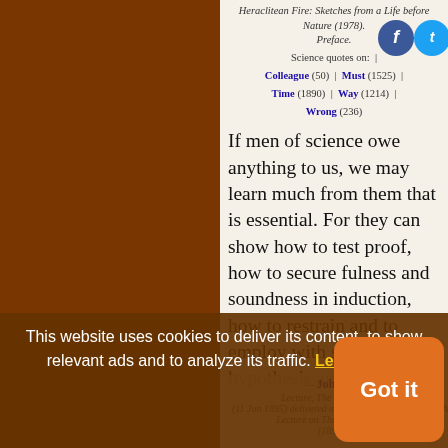Heraclitean Fire: Sketches from a Life before Nature (1978). Preface.
Science quotes on: | Colleague (50) | Must (1525) | Time (1890) | Way (1214) | Wrong (236)
If men of science owe anything to us, we may learn much from them that is essential. For they can show how to test proof, how to secure fulness and soundness in induction, how to restrain and to employ with safety hypothesis and analogy.
— John Acton, Lecture, The Study of History (11 Jun 1895) delivered at Cambridge, published as A Lecture on The Study of History (1895), 54.
This website uses cookies to deliver its content, to show relevant ads and to analyze its traffic. Learn More